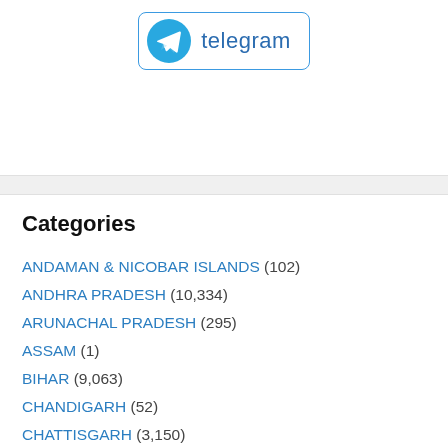[Figure (screenshot): Telegram app button with icon and label 'telegram']
Categories
ANDAMAN & NICOBAR ISLANDS (102)
ANDHRA PRADESH (10,334)
ARUNACHAL PRADESH (295)
ASSAM (1)
BIHAR (9,063)
CHANDIGARH (52)
CHATTISGARH (3,150)
DADRA & NAGAR HAVELI (39)